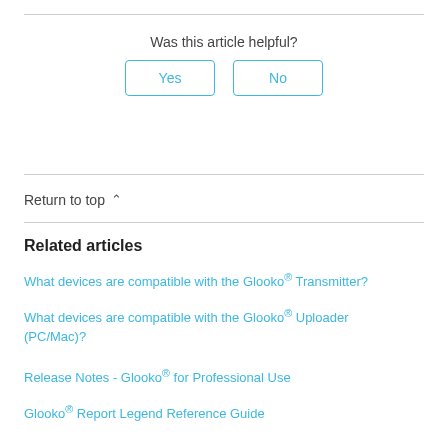Was this article helpful?
Yes | No
Return to top ∧
Related articles
What devices are compatible with the Glooko® Transmitter?
What devices are compatible with the Glooko® Uploader (PC/Mac)?
Release Notes - Glooko® for Professional Use
Glooko® Report Legend Reference Guide